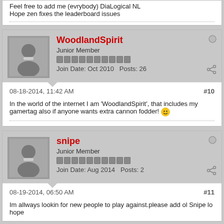Feel free to add me (evrybody) DiaLogical NL
Hope zen fixes the leaderboard issues
WoodlandSpirit
Junior Member
Join Date: Oct 2010   Posts: 26
08-18-2014, 11:42 AM
#10
In the world of the internet I am 'WoodlandSpirit', that includes my gamertag also if anyone wants extra cannon fodder! 😊
snipe
Junior Member
Join Date: Aug 2014   Posts: 2
08-19-2014, 06:50 AM
#11
Im allways lookin for new people to play against.please add ol Snipe lo hope